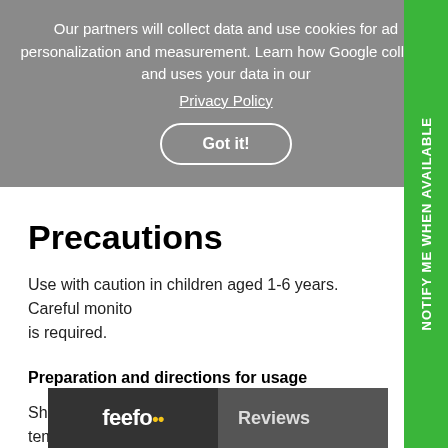Our partners will collect data and use cookies for ad personalization and measurement. Learn how Google collects and uses your data in our
Privacy Policy
Got it!
Precautions
Use with caution in children aged 1-6 years. Careful monitoring is required.
Preparation and directions for usage
Shake well before opening. Use at room temperature.
Maximum hanging
[Figure (other): Feefo Reviews bar at bottom of page]
NOTIFY ME WHEN AVAILABLE